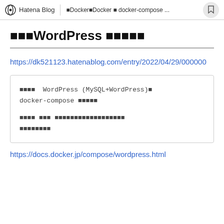Hatena Blog | ■Docker■Docker ■ docker-compose ...
■■■WordPress ■■■■■
https://dk521123.hatenablog.com/entry/2022/04/29/000000
■■■■  WordPress (MySQL+WordPress)■
docker-compose ■■■■■

■■■■ ■■■ ■■■■■■■■■■■■■■■■■■
■■■■■■■■
https://docs.docker.jp/compose/wordpress.html